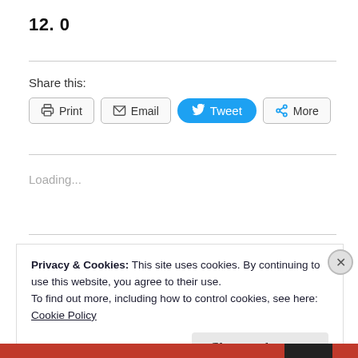12. 0
Share this:
[Figure (other): Share buttons: Print, Email, Tweet, More]
Loading...
Privacy & Cookies: This site uses cookies. By continuing to use this website, you agree to their use.
To find out more, including how to control cookies, see here:
Cookie Policy
Close and accept